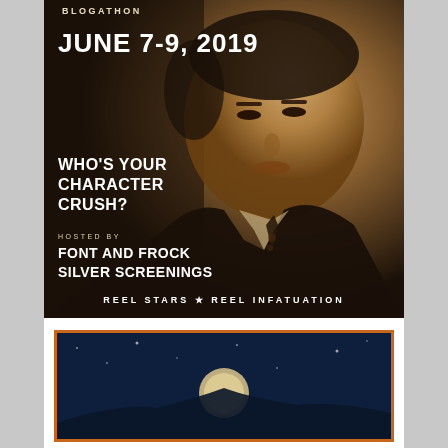[Figure (photo): Blogathon promotional poster featuring a sepia-toned portrait of an Asian man in a suit, with text overlays for a character crush blogathon event June 7-9, 2019, hosted by Font and Frock and Silver Screenings. Bottom text: REEL STARS ★ REEL INFATUATION]
BLOGATHON
JUNE 7-9, 2019
WHO'S YOUR CHARACTER CRUSH?
HOSTED BY
FONT AND FROCK
SILVER SCREENINGS
REEL STARS ★ REEL INFATUATION
[Figure (photo): Bottom partial image with dark blue background and orange border, appears to be a second blogathon poster partially visible]